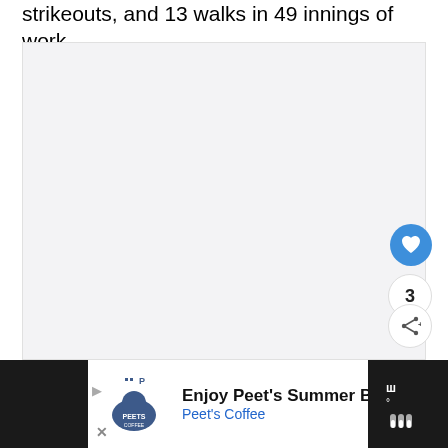strikeouts, and 13 walks in 49 innings of work.
[Figure (other): Large light gray image placeholder area in the center of the page]
[Figure (infographic): Social interaction buttons on the right side: a blue heart/like button, a count showing 3, and a share button with plus icon]
[Figure (infographic): Advertisement bar at the bottom: Peet's Coffee ad with logo, text 'Enjoy Peet's Summer Beverages', 'Peet's Coffee', and a navigation arrow icon. Dark background on sides with a thermometer/weather widget on far right.]